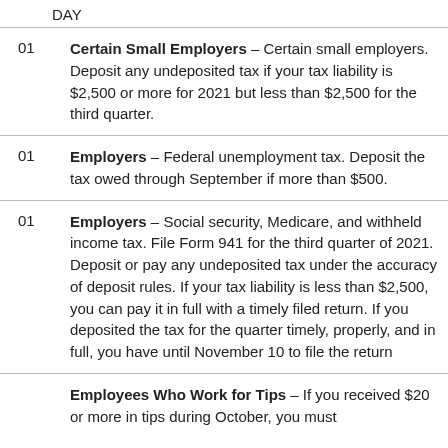DAY
01 – Certain Small Employers – Certain small employers. Deposit any undeposited tax if your tax liability is $2,500 or more for 2021 but less than $2,500 for the third quarter.
01 – Employers – Federal unemployment tax. Deposit the tax owed through September if more than $500.
01 – Employers – Social security, Medicare, and withheld income tax. File Form 941 for the third quarter of 2021. Deposit or pay any undeposited tax under the accuracy of deposit rules. If your tax liability is less than $2,500, you can pay it in full with a timely filed return. If you deposited the tax for the quarter timely, properly, and in full, you have until November 10 to file the return
Employees Who Work for Tips – If you received $20 or more in tips during October, you must